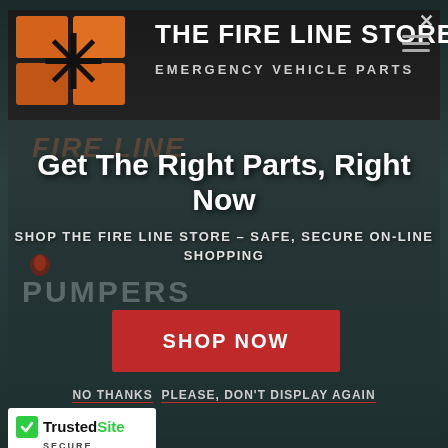[Figure (screenshot): The Fire Line Store website screenshot showing a popup modal over the main website background. The modal contains the store logo, headline text, shop now button, and trust badge.]
THE FIRE LINE STORE
EMERGENCY VEHICLE PARTS
Get The Right Parts, Right Now
SHOP THE FIRE LINE STORE – SAFE, SECURE ON-LINE SHOPPING
SHOP NOW
NO THANKS  PLEASE, DON'T DISPLAY AGAIN
[Figure (logo): TrustedSite Secure Checkout badge with green checkmark logo]